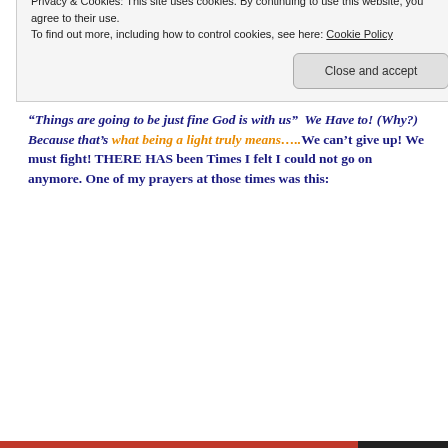DELIVERS THEE!  Someone has to say:
“Things are going to be just fine God is with us”  We Have to! (Why?) Because that’s what being a light truly means…..We can’t give up! We must fight! THERE HAS been Times I felt I could not go on anymore. One of my prayers at those times was this:
Privacy & Cookies: This site uses cookies. By continuing to use this website, you agree to their use.
To find out more, including how to control cookies, see here: Cookie Policy
Close and accept